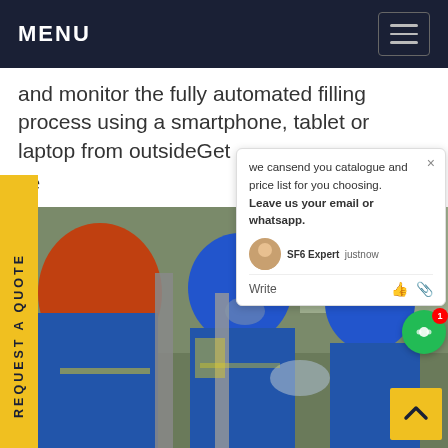MENU
and monitor the fully automated filling process using a smartphone, tablet or laptop from outsideGet
ce
[Figure (photo): Workers in blue uniforms and hard hats (blue and orange) working on industrial equipment outdoors, likely an SF6 gas filling station]
REQUEST A QUOTE
we cansend you catalogue and price list for you choosing. Leave us your email or whatsapp.
SF6 Expert    justnow
Write